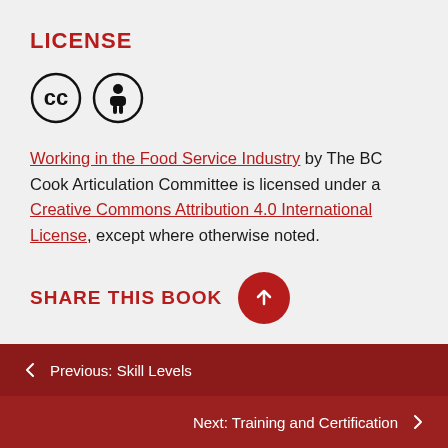LICENSE
[Figure (logo): Creative Commons CC icon and Attribution (BY) icon — two circular icons side by side]
Working in the Food Service Industry by The BC Cook Articulation Committee is licensed under a Creative Commons Attribution 4.0 International License, except where otherwise noted.
SHARE THIS BOOK
← Previous: Skill Levels
Next: Training and Certification →